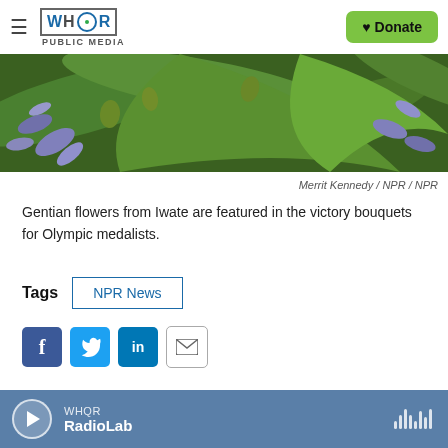WHQR PUBLIC MEDIA | Donate
[Figure (photo): Close-up photo of purple/blue gentian flowers with green leaves]
Merrit Kennedy / NPR / NPR
Gentian flowers from Iwate are featured in the victory bouquets for Olympic medalists.
Tags  NPR News
[Figure (other): Social sharing buttons: Facebook, Twitter, LinkedIn, Email]
Merrit Kennedy
WHQR RadioLab